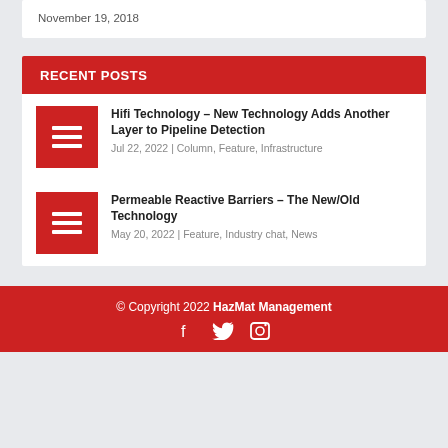November 19, 2018
RECENT POSTS
Hifi Technology – New Technology Adds Another Layer to Pipeline Detection
Jul 22, 2022 | Column, Feature, Infrastructure
Permeable Reactive Barriers – The New/Old Technology
May 20, 2022 | Feature, Industry chat, News
© Copyright 2022 HazMat Management